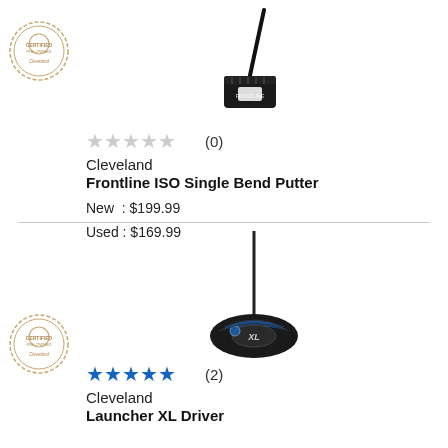[Figure (photo): Cleveland Frontline ISO Single Bend Putter golf club, black, top view with shaft]
[Figure (logo): Certified Pre-Owned badge, circular, gold/beige color]
★★★★★ (0)
Cleveland
Frontline ISO Single Bend Putter
New  : $199.99
Used : $169.99
[Figure (photo): Cleveland Launcher XL Driver golf club, black and blue, front view]
[Figure (logo): Certified Pre-Owned badge, circular, gold/beige color]
★★★★★ (2)
Cleveland
Launcher XL Driver